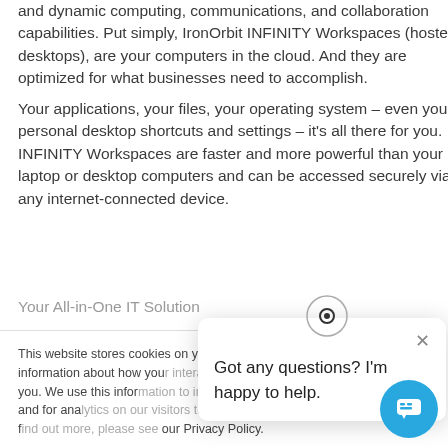and dynamic computing, communications, and collaboration capabilities. Put simply, IronOrbit INFINITY Workspaces (hosted desktops), are your computers in the cloud. And they are optimized for what businesses need to accomplish.
Your applications, your files, your operating system – even your personal desktop shortcuts and settings – it's all there for you. INFINITY Workspaces are faster and more powerful than your laptop or desktop computers and can be accessed securely via any internet-connected device.
Your All-in-One IT Solution
This website stores cookies on your computer. We collect information about how you interact with our website and remember you. We use this information to improve your browsing experience and for analytics on our visitors on this website and other media. To find out more, please see our Privacy Policy.
Got any questions? I'm happy to help.
Accept